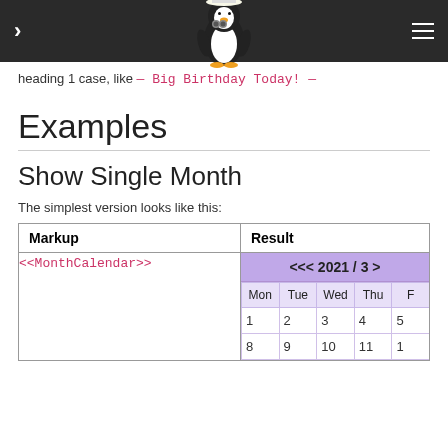navigation header with penguin logo
heading 1 case, like — Big Birthday Today! —
Examples
Show Single Month
The simplest version looks like this:
| Markup | Result |
| --- | --- |
| <<MonthCalendar>> | <<< 2021 / 3 > calendar with Mon Tue Wed Thu ... rows 1 2 3 4 ... 8 9 10 11 ... |